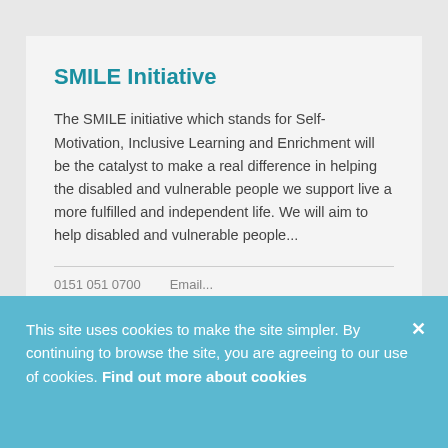SMILE Initiative
The SMILE initiative which stands for Self-Motivation, Inclusive Learning and Enrichment will be the catalyst to make a real difference in helping the disabled and vulnerable people we support live a more fulfilled and independent life. We will aim to help disabled and vulnerable people...
This site uses cookies to make the site simpler. By continuing to browse the site, you are agreeing to our use of cookies. Find out more about cookies